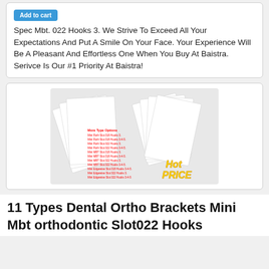Spec Mbt. 022 Hooks 3. We Strive To Exceed All Your Expectations And Put A Smile On Your Face. Your Experience Will Be A Pleasant And Effortless One When You Buy At Baistra. Serivce Is Our #1 Priority At Baistra!
[Figure (photo): Product image showing multiple orthodontic bracket packages fanned out, with red text listing various Mini Roth and Mini MBT bracket types, and a yellow 'Hot Price' text]
11 Types Dental Ortho Brackets Mini Mbt orthodontic Slot022 Hooks